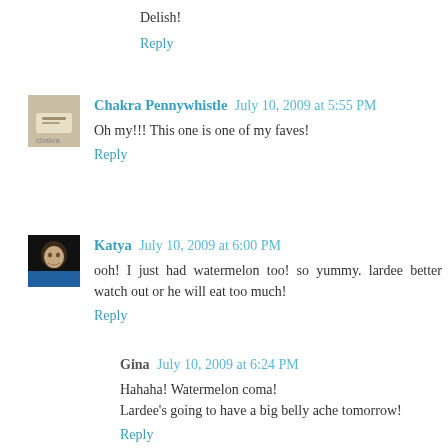Delish!
Reply
Chakra Pennywhistle  July 10, 2009 at 5:55 PM
Oh my!!! This one is one of my faves!
Reply
Katya  July 10, 2009 at 6:00 PM
ooh! I just had watermelon too! so yummy. lardee better watch out or he will eat too much!
Reply
Gina  July 10, 2009 at 6:24 PM
Hahaha! Watermelon coma!
Lardee's going to have a big belly ache tomorrow!
Reply